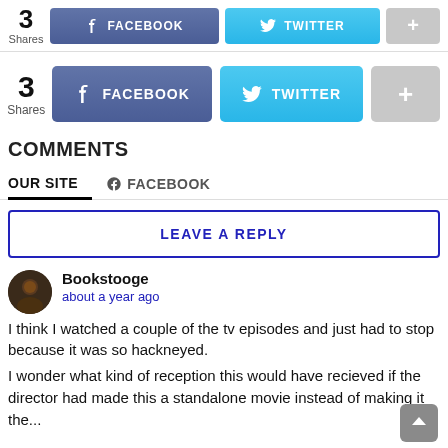[Figure (infographic): Share bar with 3 Shares count, Facebook button, Twitter button, and plus button (top compact version)]
[Figure (infographic): Share bar with 3 Shares count, Facebook button, Twitter button, and plus button (larger version)]
COMMENTS
OUR SITE   FACEBOOK
LEAVE A REPLY
Bookstooge
about a year ago
I think I watched a couple of the tv episodes and just had to stop because it was so hackneyed.
I wonder what kind of reception this would have recieved if the director had made this a standalone movie instead of making it the...